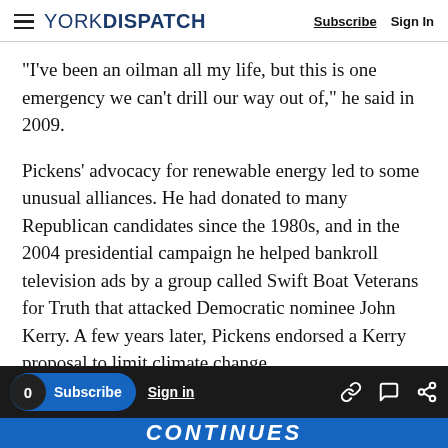YORK DISPATCH | Subscribe | Sign In
“I’ve been an oilman all my life, but this is one emergency we can’t drill our way out of,” he said in 2009.
Pickens’ advocacy for renewable energy led to some unusual alliances. He had donated to many Republican candidates since the 1980s, and in the 2004 presidential campaign he helped bankroll television ads by a group called Swift Boat Veterans for Truth that attacked Democratic nominee John Kerry. A few years later, Pickens endorsed a Kerry proposal to limit climate change.
0 | Subscribe | Sign in | [link icon] [comment icon] [share icon] | CONTINUES